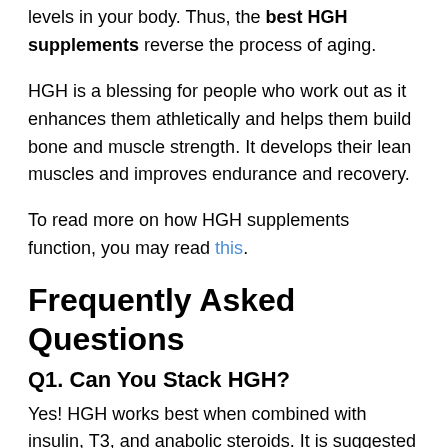levels in your body. Thus, the best HGH supplements reverse the process of aging.
HGH is a blessing for people who work out as it enhances them athletically and helps them build bone and muscle strength. It develops their lean muscles and improves endurance and recovery.
To read more on how HGH supplements function, you may read this.
Frequently Asked Questions
Q1. Can You Stack HGH?
Yes! HGH works best when combined with insulin, T3, and anabolic steroids. It is suggested that you start slow with the